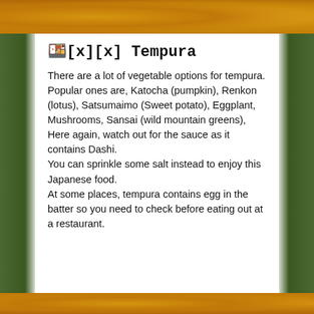[Figure (photo): Photo of tempura food (golden/orange fried vegetables) at top of page]
🍱[x][x] Tempura
There are a lot of vegetable options for tempura.
Popular ones are, Katocha (pumpkin), Renkon (lotus), Satsumaimo (Sweet potato), Eggplant, Mushrooms, Sansai (wild mountain greens),
Here again, watch out for the sauce as it contains Dashi.
You can sprinkle some salt instead to enjoy this Japanese food.
At some places, tempura contains egg in the batter so you need to check before eating out at a restaurant.
[Figure (photo): Photo of tempura food at bottom of page]